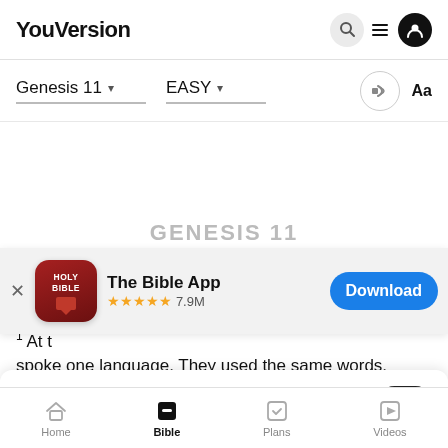YouVersion
Genesis 11   EASY
[Figure (screenshot): App store banner for 'The Bible App' with Holy Bible icon, 5 stars, 7.9M ratings, and a blue Download button]
ower in Babel
1 At t
spoke one language. They used the same words.
YouVersion uses cookies to personalize your experience. By using our website, you accept our use of cookies as described in our Privacy Policy.
Home   Bible   Plans   Videos